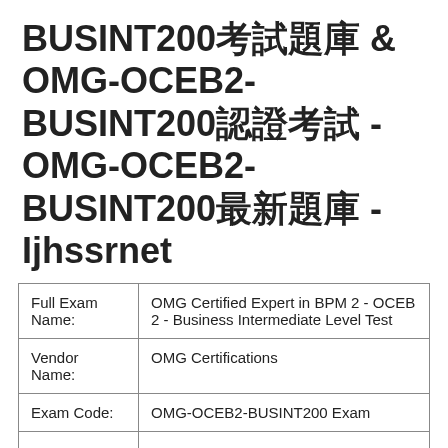BUSINT200考試題庫 & OMG-OCEB2-BUSINT200認證考試 - OMG-OCEB2-BUSINT200最新題庫 - Ijhssrnet
| Full Exam Name: | OMG Certified Expert in BPM 2 - OCEB 2 - Business Intermediate Level Test |
| Vendor Name: | OMG Certifications |
| Exam Code: | OMG-OCEB2-BUSINT200 Exam |
|  |  |